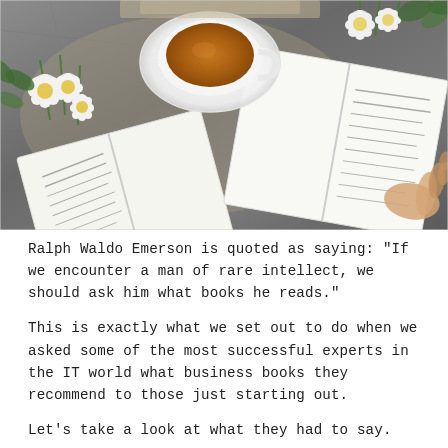[Figure (photo): Overhead flat-lay photo of two open books, a cup of tea on a white saucer, white daisy flowers on the left, white flowers in top right corner, all arranged on a grey fabric surface. A hand is visible holding the right book.]
Ralph Waldo Emerson is quoted as saying: “If we encounter a man of rare intellect, we should ask him what books he reads.”
This is exactly what we set out to do when we asked some of the most successful experts in the IT world what business books they recommend to those just starting out.
Let’s take a look at what they had to say.